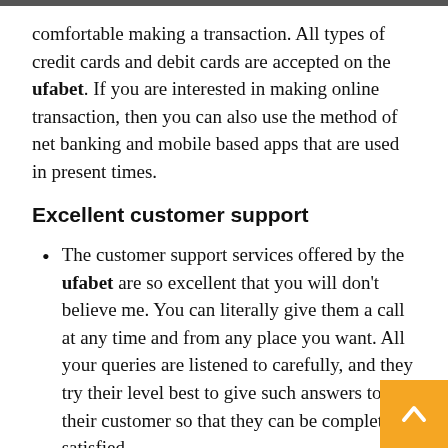comfortable making a transaction. All types of credit cards and debit cards are accepted on the ufabet. If you are interested in making online transaction, then you can also use the method of net banking and mobile based apps that are used in present times.
Excellent customer support
The customer support services offered by the ufabet are so excellent that you will don't believe me. You can literally give them a call at any time and from any place you want. All your queries are listened to carefully, and they try their level best to give such answers to their customer so that they can be completely satisfied.